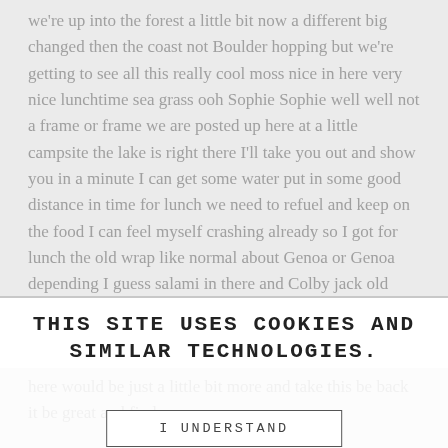we're up into the forest a little bit now a different big changed then the coast not Boulder hopping but we're getting to see all this really cool moss nice in here very nice lunchtime sea grass ooh Sophie Sophie well well not a frame or frame we are posted up here at a little campsite the lake is right there I'll take you out and show you in a minute I can get some water put in some good distance in time for lunch we need to refuel and keep on the food I can feel myself crashing already so I got for lunch the old wrap like normal about Genoa or Genoa depending I guess salami in there and Colby jack old Colby jack cheese isn't pretty good put some water
[Music]
THIS SITE USES COOKIES AND SIMILAR TECHNOLOGIES.
IF YOU NOT CHANGE BROWSER SETTINGS, YOU AGREE TO IT. LEARN MORE
I UNDERSTAND
here would be just a little bit more and take this be back it be great and find